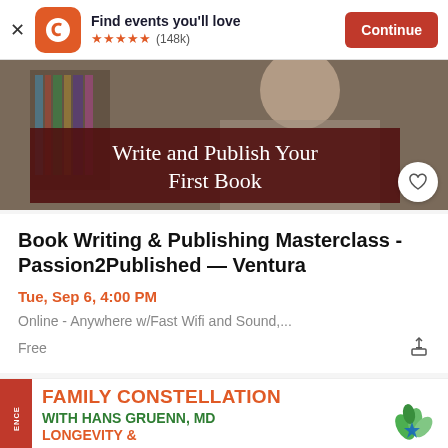Find events you'll love ★★★★★ (148k) Continue
[Figure (screenshot): Hero image of a woman in a library with overlay text 'Write and Publish Your First Book']
Book Writing & Publishing Masterclass -Passion2Published — Ventura
Tue, Sep 6, 4:00 PM
Online - Anywhere w/Fast Wifi and Sound,...
Free
[Figure (advertisement): Family Constellation with Hans Gruenn, MD Longevity & advertisement with green leaf logo]